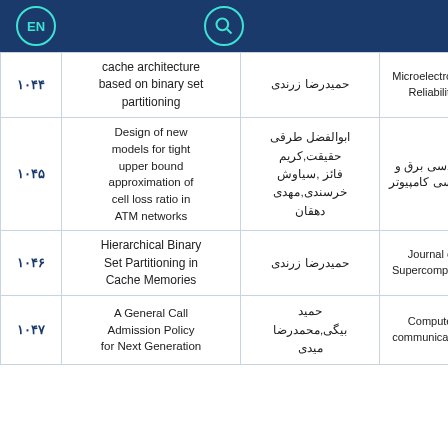EN | Search
| ID | Title | Author | Journal |
| --- | --- | --- | --- |
| ۱۰۴۴ | cache architecture based on binary set partitioning | حمیدرضا زرندی | Microelectronics Reliability |
| ۱۰۴۵ | Design of new models for tight upper bound approximation of cell loss ratio in ATM networks | ابوالفضل طرقی حقیقت,کریم فائز ,سیاوش خرسندی,مهدی دهقان | مهندسی برق و مهندسی کامپیوتر |
| ۱۰۴۶ | Hierarchical Binary Set Partitioning in Cache Memories | حمیدرضا زرندی | Journal of Supercomputing |
| ۱۰۴۷ | A General Call Admission Policy for Next Generation | حمید بیگی,محمدرضا میدی | Computer communications |